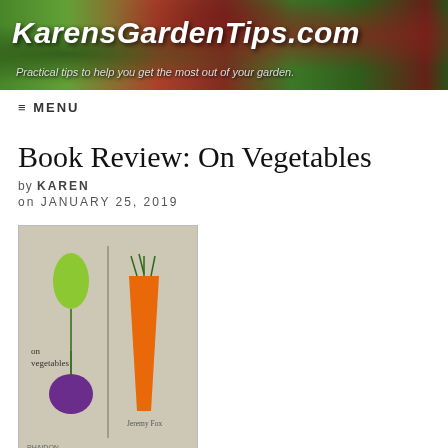KarensGardenTips.com — Practical tips to help you get the most out of your garden.
= MENU
Book Review: On Vegetables
by KAREN
on JANUARY 25, 2019
[Figure (photo): Book cover of 'On Vegetables' by Jeremy Fox, published by Phaidon. Beige/tan background with stylized illustrations of a green leaf/sprout, an orange carrot, and a purple onion/beet connected by thin lines.]
Known for his inventive vegetable dishes, author and chef, Jeremy Fox presents recipes for seventy five signature dishes and seventy five larder recipes in his book, On Vegetables. Although not a vegetarian, Fox